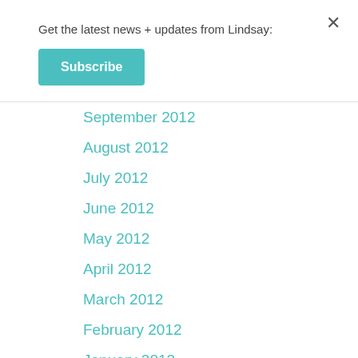Get the latest news + updates from Lindsay:
Subscribe
September 2012
August 2012
July 2012
June 2012
May 2012
April 2012
March 2012
February 2012
January 2012
December 2011
November 2011